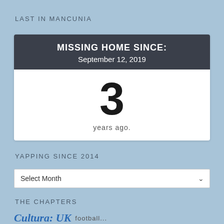LAST IN MANCUNIA
[Figure (infographic): A card widget showing 'MISSING HOME SINCE: September 12, 2019' in a dark header, with a large '3' and 'years ago.' in the white body below.]
YAPPING SINCE 2014
Select Month
THE CHAPTERS
Cultura: UK   football ...